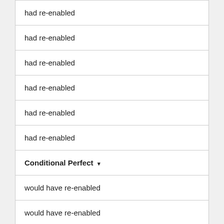| had re-enabled |
| had re-enabled |
| had re-enabled |
| had re-enabled |
| had re-enabled |
| had re-enabled |
| Conditional Perfect ▾ |
| would have re-enabled |
| would have re-enabled |
|  |